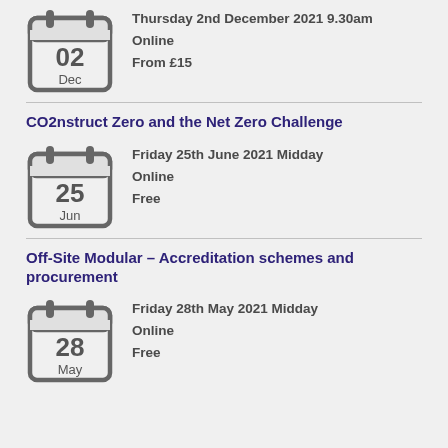[Figure (illustration): Calendar icon showing 02 Dec]
Thursday 2nd December 2021 9.30am
Online
From £15
CO2nstruct Zero and the Net Zero Challenge
[Figure (illustration): Calendar icon showing 25 Jun]
Friday 25th June 2021 Midday
Online
Free
Off-Site Modular – Accreditation schemes and procurement
[Figure (illustration): Calendar icon showing 28 May]
Friday 28th May 2021 Midday
Online
Free